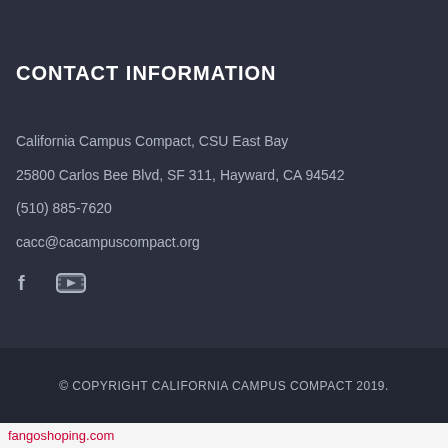CONTACT INFORMATION
California Campus Compact, CSU East Bay
25800 Carlos Bee Blvd, SF 311, Hayward, CA 94542
(510) 885-7620
cacc@cacampuscompact.org
[Figure (illustration): Social media icons: Facebook and YouTube]
© COPYRIGHT CALIFORNIA CAMPUS COMPACT 2019.
fangoshoping.com